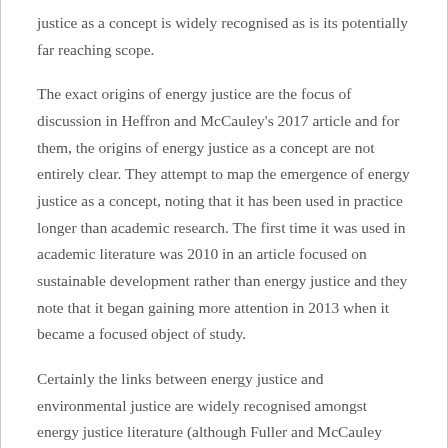justice as a concept is widely recognised as is its potentially far reaching scope.
The exact origins of energy justice are the focus of discussion in Heffron and McCauley's 2017 article and for them, the origins of energy justice as a concept are not entirely clear. They attempt to map the emergence of energy justice as a concept, noting that it has been used in practice longer than academic research. The first time it was used in academic literature was 2010 in an article focused on sustainable development rather than energy justice and they note that it began gaining more attention in 2013 when it became a focused object of study.
Certainly the links between energy justice and environmental justice are widely recognised amongst energy justice literature (although Fuller and McCauley (2016) believe that the connection with